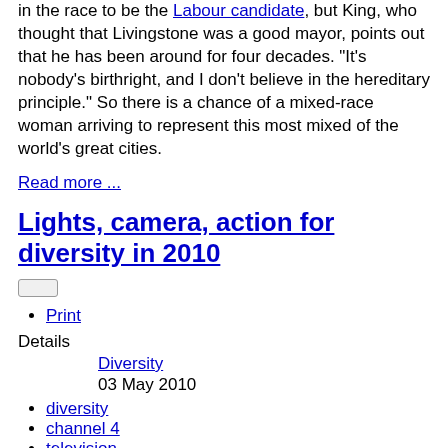in the race to be the Labour candidate, but King, who thought that Livingstone was a good mayor, points out that he has been around for four decades. "It's nobody's birthright, and I don't believe in the hereditary principle." So there is a chance of a mixed-race woman arriving to represent this most mixed of the world's great cities.
Read more ...
Lights, camera, action for diversity in 2010
Print
Details
Diversity
03 May 2010
diversity
channel 4
television
I've often had a chance to reflect on the lack of diversity around me, not least during eight years as MP for Bethnal Green and Bow